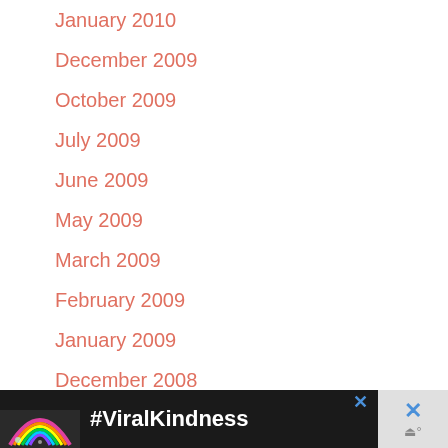January 2010
December 2009
October 2009
July 2009
June 2009
May 2009
March 2009
February 2009
January 2009
December 2008
November 2008
October 2008
[Figure (screenshot): Advertisement banner at bottom: dark background with rainbow graphic and #ViralKindness text in white, with X close button]